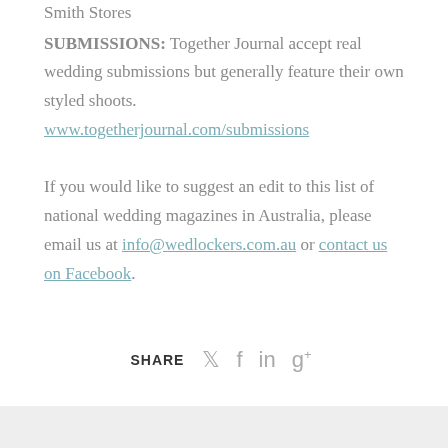Smith Stores
SUBMISSIONS: Together Journal accept real wedding submissions but generally feature their own styled shoots. www.togetherjournal.com/submissions
If you would like to suggest an edit to this list of national wedding magazines in Australia, please email us at info@wedlockers.com.au or contact us on Facebook.
SHARE